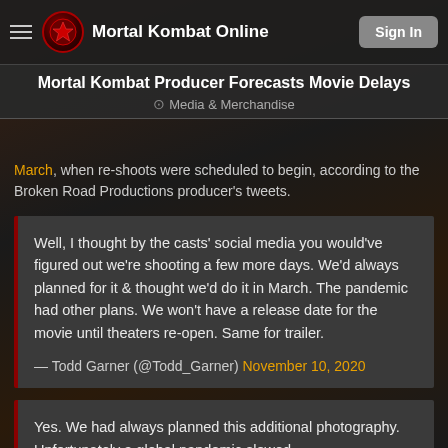Mortal Kombat Online | Sign In
Mortal Kombat Producer Forecasts Movie Delays
Media & Merchandise
March, when re-shoots were scheduled to begin, according to the Broken Road Productions producer's tweets.
Well, I thought by the casts' social media you would've figured out we're shooting a few more days. We'd always planned for it & thought we'd do it in March. The pandemic had other plans. We won't have a release date for the movie until theaters re-open. Same for trailer.

— Todd Garner (@Todd_Garner) November 10, 2020
Yes. We had always planned this additional photography. Unfortunately a global pandemic slowed